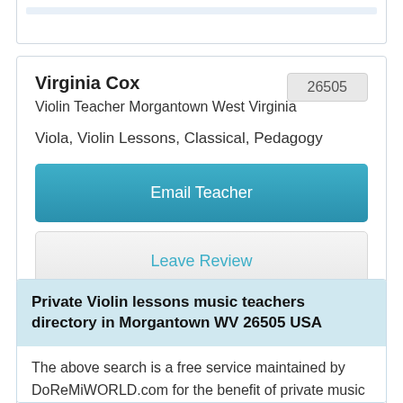Virginia Cox
26505
Violin Teacher Morgantown West Virginia
Viola, Violin Lessons, Classical, Pedagogy
Email Teacher
Leave Review
Private Violin lessons music teachers directory in Morgantown WV 26505 USA
The above search is a free service maintained by DoReMiWORLD.com for the benefit of private music teachers, as well as music students and their parents. Our goal is to help you locate a private music instructor, for example, a private piano teacher, a private violin teacher, a private voice coach, an online music teacher or another music education